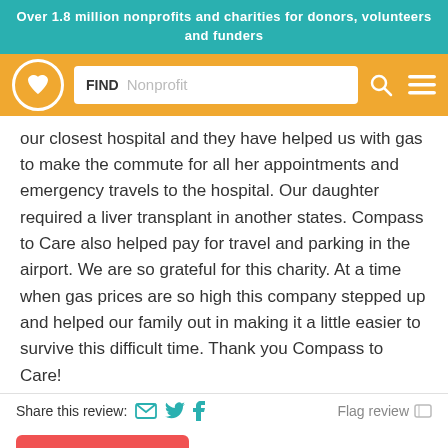Over 1.8 million nonprofits and charities for donors, volunteers and funders
[Figure (screenshot): Navigation bar with Charity Navigator logo, FIND Nonprofit search box, search icon and menu icon on orange background]
our closest hospital and they have helped us with gas to make the commute for all her appointments and emergency travels to the hospital. Our daughter required a liver transplant in another states. Compass to Care also helped pay for travel and parking in the airport. We are so grateful for this charity. At a time when gas prices are so high this company stepped up and helped our family out in making it a little easier to survive this difficult time. Thank you Compass to Care!
Share this review:   Flag review
[Figure (illustration): Red Donate button with gift/present icon]